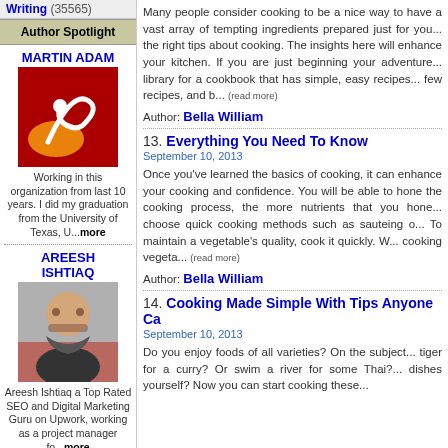Writing (35565)
Author Spotlight
MARTIN ADAM
[Figure (illustration): Logo with white swirl/spoon on dark red and orange background]
Working in this organization from last 10 years. I did my graduation from the University of Texas, U...more
AREESH ISHTIAQ
[Figure (photo): Photo of Areesh Ishtiaq, a bearded man in dark clothing]
Areesh Ishtiaq a Top Rated SEO and Digital Marketing Guru on Upwork, working as a project manager fo...more
RICHARD BLANK
Many people consider cooking to be a nice way to...vast array of tempting ingredients prepared just for...the right tips about cooking. The insights here will...your kitchen. If you are just beginning your adventure...library for a cookbook that has simple, easy recipes...few recipes, and b... (read more)
Author: Bella William
13. Everything You Need To Know
September 10, 2013
Once you've learned the basics of cooking, it can...your cooking and confidence. You will be able to h...the cooking process, the more nutrients that you h...choose quick cooking methods such as sauteing o...To maintain a vegetable's quality, cook it quickly. W...cooking vegeta... (read more)
Author: Bella William
14. Cooking Made Simple With Tips Anyone Ca
September 10, 2013
Do you enjoy foods of all varieties? On the subject...tiger for a curry? Or swim a river for some Thai?...dishes yourself? Now you can start cooking these...